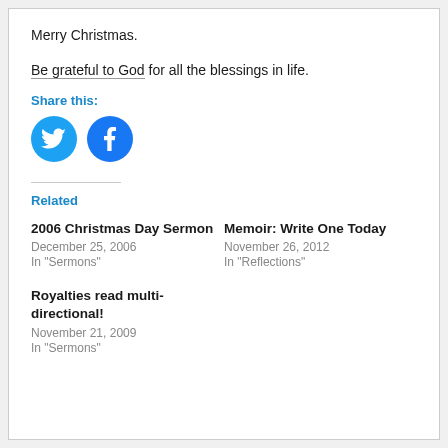Merry Christmas.
Be grateful to God for all the blessings in life.
Share this:
[Figure (illustration): Twitter and Facebook social share icon buttons — two circular icons, Twitter (light blue) and Facebook (blue)]
Related
2006 Christmas Day Sermon
December 25, 2006
In "Sermons"
Memoir: Write One Today
November 26, 2012
In "Reflections"
Royalties read multi-directional!
November 21, 2009
In "Sermons"